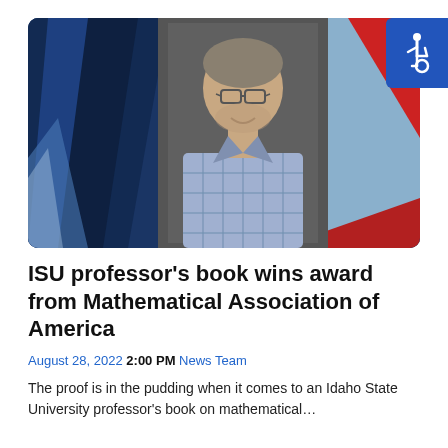[Figure (photo): News broadcast-style banner image with dark blue geometric shapes on left, red and light blue diagonal shapes on right, and a center portrait photo of a middle-aged man with glasses and gray-brown hair wearing a blue plaid shirt, against a dark gray background. An accessibility (wheelchair) icon badge appears in the top right corner.]
ISU professor’s book wins award from Mathematical Association of America
August 28, 2022 2:00 PM News Team
The proof is in the pudding when it comes to an Idaho State University professor’s book on mathematical…